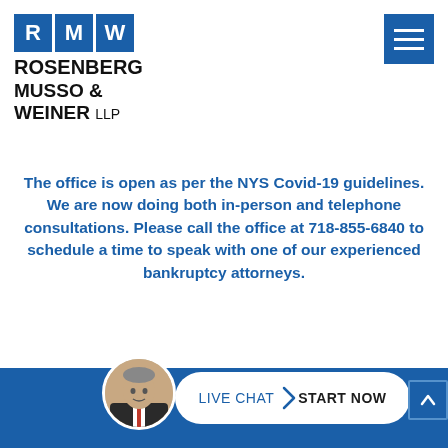[Figure (logo): Rosenberg Musso & Weiner LLP law firm logo with blue square letter blocks R, M, W and firm name in bold text]
[Figure (screenshot): Blue hamburger menu button (three horizontal white lines on blue background) in top-right corner]
The office is open as per the NYS Covid-19 guidelines. We are now doing both in-person and telephone consultations. Please call the office at 718-855-6840 to schedule a time to speak with one of our experienced bankruptcy attorneys.
[Figure (photo): Circular avatar photo of a man in suit at bottom of page]
[Figure (other): Live chat button with text LIVE CHAT and START NOW on white pill-shaped background in blue footer bar]